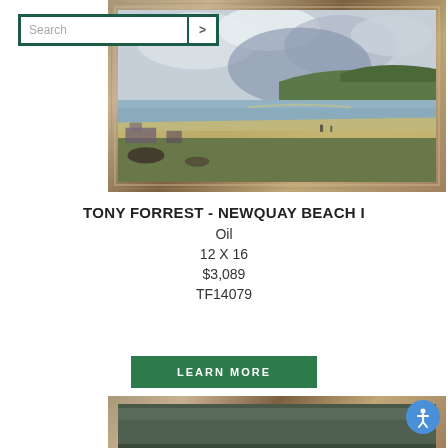[Figure (photo): Oil painting of Newquay Beach in a silver/gold ornate frame, showing a coastal landscape with water, green hills, and cloudy sky]
TONY FORREST - NEWQUAY BEACH I
Oil
12 X 16
$3,089
TF14079
LEARN MORE
[Figure (photo): Bottom portion of another framed painting, showing the top edge of an ornate silver/gold frame with dark painting interior visible]